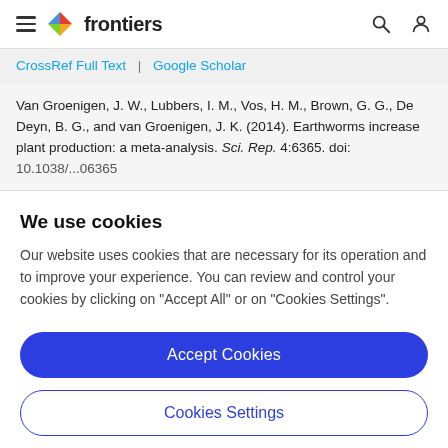frontiers
CrossRef Full Text | Google Scholar
Van Groenigen, J. W., Lubbers, I. M., Vos, H. M., Brown, G. G., De Deyn, B. G., and van Groenigen, J. K. (2014). Earthworms increase plant production: a meta-analysis. Sci. Rep. 4:6365. doi: 10.1038/...06365
We use cookies
Our website uses cookies that are necessary for its operation and to improve your experience. You can review and control your cookies by clicking on "Accept All" or on "Cookies Settings".
Accept Cookies
Cookies Settings